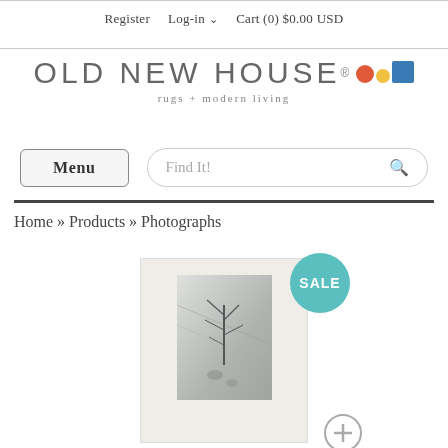Register   Log-in ∨   Cart (0) $0.00 USD
[Figure (logo): OLD NEW HOUSE logo with colorful dots and tagline 'rugs + modern living']
Menu
Find It!
Home » Products » Photographs
[Figure (photo): Product photo of a matted black and white photograph showing a winter landscape with a bare tree in snow, with a teal SALE badge overlay and a plus button]